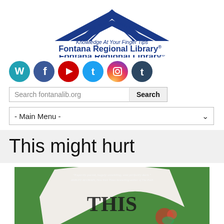[Figure (logo): Fontana Regional Library logo — blue double-chevron/house mark above italic tagline 'Knowledge At Your Finger Tips' and bold text 'Fontana Regional Library®']
[Figure (infographic): Row of six circular social media icons: WordPress (teal), Facebook (dark blue), YouTube (red), Twitter (light blue), Instagram (pink/orange gradient), Tumblr (dark teal)]
Search fontanalib.org
- Main Menu -
This might hurt
[Figure (photo): Book cover for 'This Might Hurt' — green background, large white peeling paper shape revealing floral design underneath, text 'THIS' visible; quote at top reads: 'Expertly paced, hugely unsettling, and perfectly dark.' ASHLEY AUDRAIN, New York Times bestselling author of The Push]